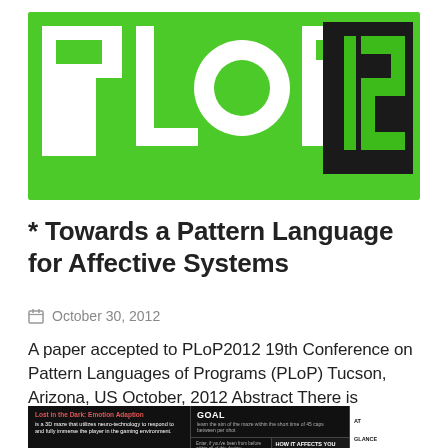[Figure (logo): PLoP 12 conference logo on bright green background with large bold white 'PLoP' text and dark panel showing '12' in green digits]
* Towards a Pattern Language for Affective Systems
October 30, 2012
A paper accepted to PLoP2012 19th Conference on Pattern Languages of Programs (PLoP) Tucson, Arizona, US October, 2012 Abstract There is growing interest [+]
[Figure (screenshot): Dark infographic screenshot showing 'Lost in the Dark: Emotion Adaption' game description with sections for GOAL, THE TECH, HOW IT AFFECTS YOU, AT GLANCE, EMOTIONS MEASURED]